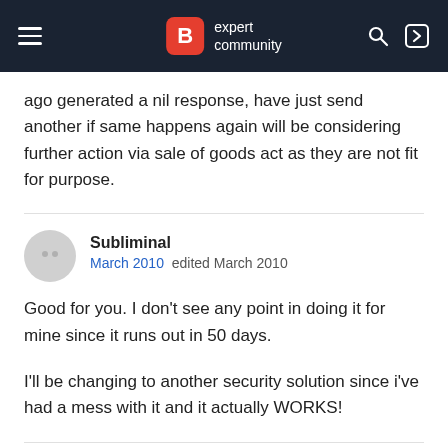B expert community
ago generated a nil response, have just send another if same happens again will be considering further action via sale of goods act as they are not fit for purpose.
Subliminal
March 2010  edited March 2010
Good for you. I don't see any point in doing it for mine since it runs out in 50 days.
I'll be changing to another security solution since i've had a mess with it and it actually WORKS!
Subliminal